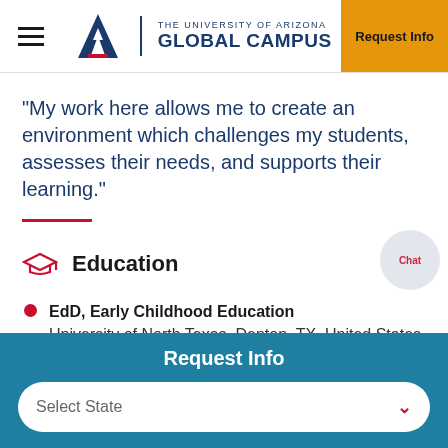THE UNIVERSITY OF ARIZONA GLOBAL CAMPUS | Request Info
"My work here allows me to create an environment which challenges my students, assesses their needs, and supports their learning."
Education
EdD, Early Childhood Education
University of North Texas, Denton, TX, United States, 2005
Request Info
Select State